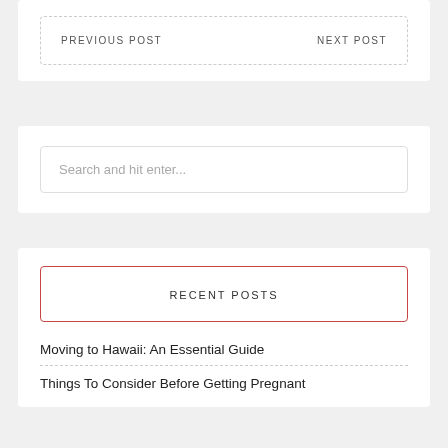PREVIOUS POST    NEXT POST
Search and hit enter...
RECENT POSTS
Moving to Hawaii: An Essential Guide
Things To Consider Before Getting Pregnant